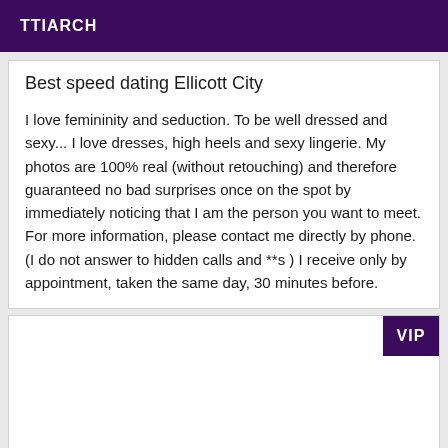TTIARCH
Best speed dating Ellicott City
I love femininity and seduction. To be well dressed and sexy... I love dresses, high heels and sexy lingerie. My photos are 100% real (without retouching) and therefore guaranteed no bad surprises once on the spot by immediately noticing that I am the person you want to meet. For more information, please contact me directly by phone. (I do not answer to hidden calls and **s ) I receive only by appointment, taken the same day, 30 minutes before.
VIP